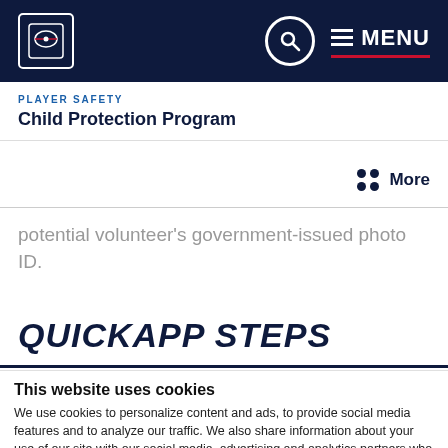PLAYER SAFETY | Child Protection Program | MENU
PLAYER SAFETY
Child Protection Program
potential volunteer's government-issued photo ID.
QUICKAPP STEPS
This website uses cookies
We use cookies to personalize content and ads, to provide social media features and to analyze our traffic. We also share information about your use of our site with our social media, advertising and analytics partners who may combine it with other information that you've provided to them or that they've collected from your use of their services. By clicking OK, you consent to our